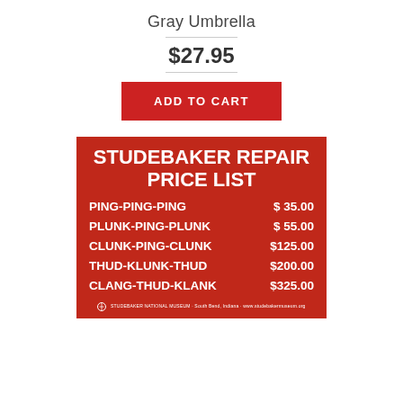Gray Umbrella
$27.95
[Figure (other): Red 'ADD TO CART' button]
[Figure (other): Studebaker Repair Price List sign — red background with white bold text listing: PING-PING-PING $35.00, PLUNK-PING-PLUNK $55.00, CLUNK-PING-CLUNK $125.00, THUD-KLUNK-THUD $200.00, CLANG-THUD-KLANK $325.00. Footer: Studebaker National Museum, South Bend, Indiana, www.studebakermuseum.org]